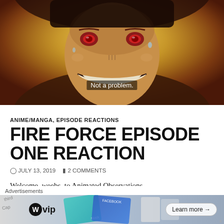[Figure (screenshot): Anime screenshot from Fire Force showing a character with red eyes and a wide grin, with subtitle text 'Not a problem.' overlaid at the bottom center]
ANIME/MANGA, EPISODE REACTIONS
FIRE FORCE EPISODE ONE REACTION
JULY 13, 2019   2 COMMENTS
Welcome, weebs, to Animated Observations
I talked about in one of my recent posts how I had a lot of hop
[Figure (screenshot): Advertisement banner showing WordPress VIP logo and background with social media imagery and a 'Learn more →' button]